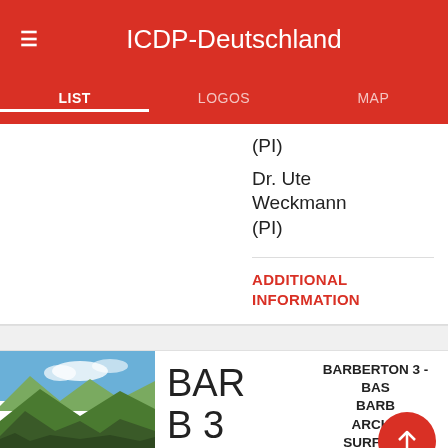ICDP-Deutschland
LIST | LOGOS | MAP
(PI)
Dr. Ute Weckmann (PI)
ADDITIONAL INFORMATION
[Figure (photo): Mountain landscape with green hillsides and blue sky]
BAR B 3
ICDP
BARBERTON 3 - BASALT BARBERTON ARCHEAN SURFACE